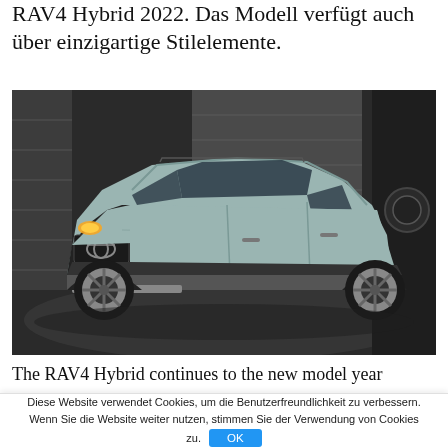RAV4 Hybrid 2022. Das Modell verfügt auch über einzigartige Stilelemente.
[Figure (photo): Toyota RAV4 Hybrid 2022 in light gray/teal color, photographed in a dark studio/garage setting on a circular platform, front three-quarter view, with black trim and alloy wheels.]
The RAV4 Hybrid continues to the new model year
Diese Website verwendet Cookies, um die Benutzerfreundlichkeit zu verbessern. Wenn Sie die Website weiter nutzen, stimmen Sie der Verwendung von Cookies zu.